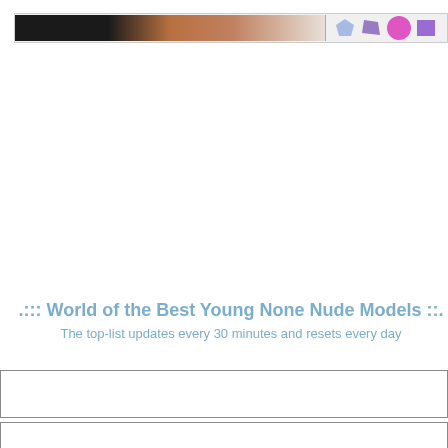[Figure (screenshot): Top navigation bar with partial image strip showing dark background with brownish tones on left portion, and decorative icon shapes (blue pentagon, purple quadrilateral, pink/magenta circle, purple rectangle) on the right side]
.::: World of the Best Young None Nude Models ::.
The top-list updates every 30 minutes and resets every day
[Figure (other): Empty white content box with border]
[Figure (other): Empty white content box with border]